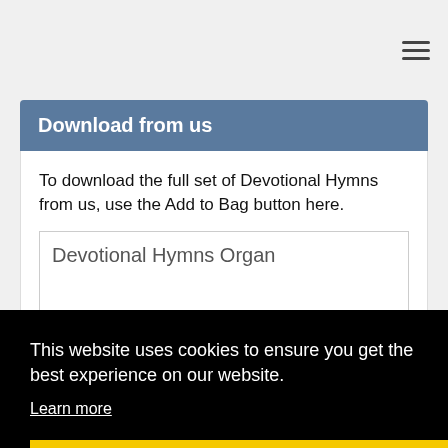≡
Download from us
To download the full set of Devotional Hymns from us, use the Add to Bag button here.
Devotional Hymns Organ
This website uses cookies to ensure you get the best experience on our website.
Learn more
Got it!
Buy the CD